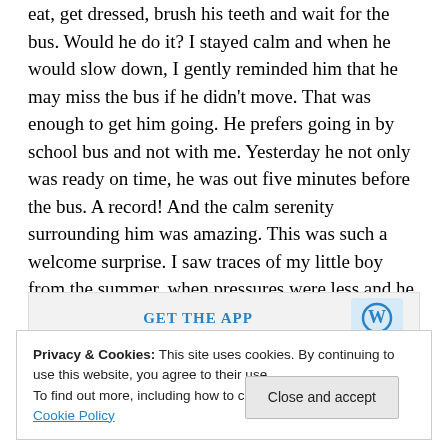eat, get dressed, brush his teeth and wait for the bus. Would he do it? I stayed calm and when he would slow down, I gently reminded him that he may miss the bus if he didn't move. That was enough to get him going. He prefers going in by school bus and not with me. Yesterday he not only was ready on time, he was out five minutes before the bus. A record! And the calm serenity surrounding him was amazing. This was such a welcome surprise. I saw traces of my little boy from the summer, when pressures were less and he was listening more. And he even asked me,
[Figure (other): GET THE APP banner with Wordpress logo]
Privacy & Cookies: This site uses cookies. By continuing to use this website, you agree to their use. To find out more, including how to control cookies, see here: Cookie Policy
Close and accept